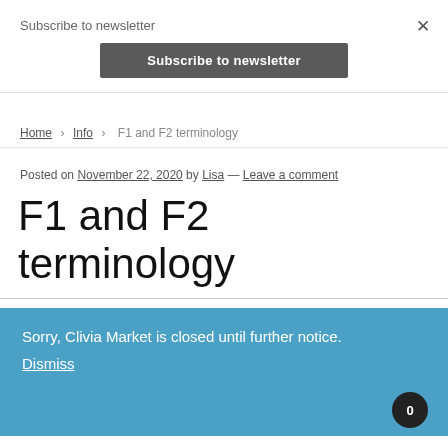Subscribe to newsletter
Subscribe to newsletter
×
Home › Info › F1 and F2 terminology
Posted on November 22, 2020 by Lisa — Leave a comment
F1 and F2 terminology
Sorry, Clivia Market is closed until further notice. Dismiss